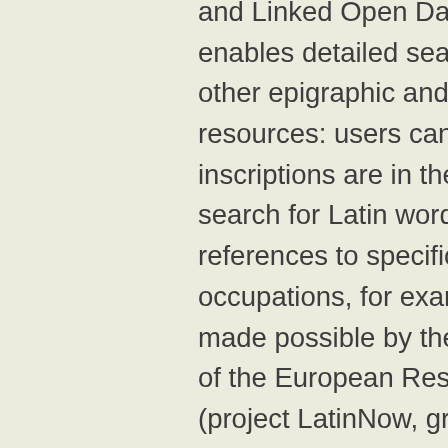and Linked Open Data this resource enables detailed searching and linking to other epigraphic and non-epigraphic resources: users can check which inscriptions are in their local museums, search for Latin words, assemble references to specific military occupations, for example. All of this is made possible by the generous support of the European Research Council (project LatinNow, grant number 715626) and epigraphers, archaeologists and institutions across the country (especially MOLA, the Vindolanda Trust, the Centre for the Study of Roman Documents